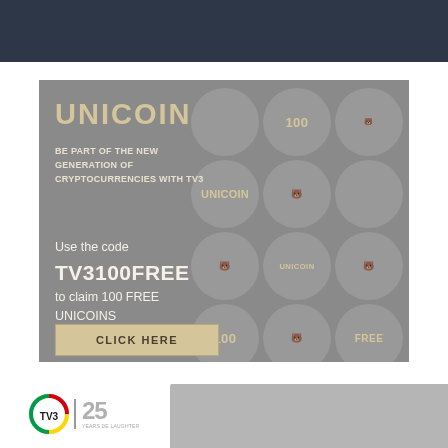[Figure (infographic): Dark navy top bar decorative element]
[Figure (infographic): Unicoin cryptocurrency advertisement banner. Gray background with circle grid pattern on right side containing coins icons numbered 100, UNICOIN text, and bear icons. Left side text: UNICOIN header, tagline BE PART OF THE NEW GENERATION OF CRYPTOCURRENCIES WITH TV3, Use the code TV3100FREE to claim 100 FREE UNICOINS, and CLICK HERE button.]
[Figure (logo): TV3 25 years logo in bottom left with colorful circular badge and gray bar extending to the right]
UNICOIN
BE PART OF THE NEW GENERATION OF CRYPTOCURRENCIES WITH TV3
Use the code TV3100FREE to claim 100 FREE UNICOINS
CLICK HERE